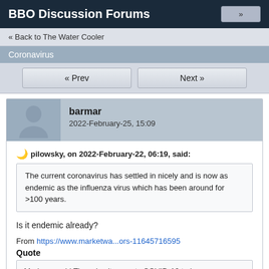BBO Discussion Forums
« Back to The Water Cooler
Coronavirus
« Prev   Next »
barmar
2022-February-25, 15:09
pilowsky, on 2022-February-22, 06:19, said:
The current coronavirus has settled in nicely and is now as endemic as the influenza virus which has been around for >100 years.
Is it endemic already?
From https://www.marketwa...ors-11645716595
Quote
Moderna said Thursday it expects COVID-19 to become endemic in